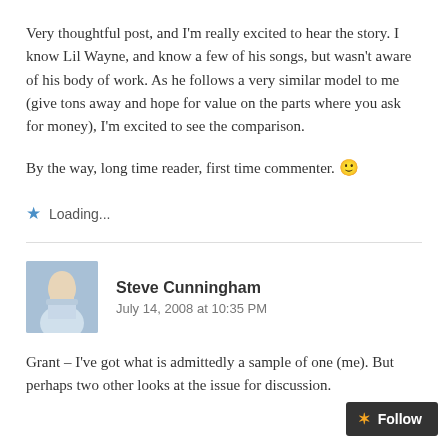Very thoughtful post, and I'm really excited to hear the story. I know Lil Wayne, and know a few of his songs, but wasn't aware of his body of work. As he follows a very similar model to me (give tons away and hope for value on the parts where you ask for money), I'm excited to see the comparison.
By the way, long time reader, first time commenter. 🙂
Loading...
Steve Cunningham
July 14, 2008 at 10:35 PM
Grant – I've got what is admittedly a sample of one (me). But perhaps two other looks at the issue for discussion.